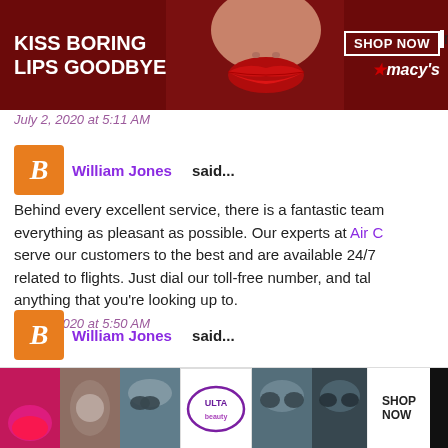[Figure (screenshot): Macy's Kiss Boring Lips Goodbye advertisement banner with model face and red lips]
make trav
July 2, 2020 at 5:11 AM
William Jones said...
Behind every excellent service, there is a fantastic team everything as pleasant as possible. Our experts at Air C serve our customers to the best and are available 24/7 related to flights. Just dial our toll-free number, and tal anything that you're looking up to.
July 2, 2020 at 5:50 AM
William Jones said...
Our Allegiant Customer Care booking helpdesk is the p needs are met with the most affordab s. Speak t
[Figure (screenshot): ULTA beauty advertisement bar at the bottom with makeup images and SHOP NOW button]